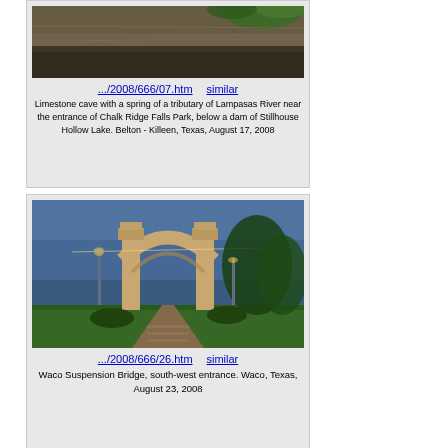[Figure (photo): Limestone cave with a spring, rocky walls and green vegetation at top]
.../2008/666/07.htm    similar
Limestone cave with a spring of a tributary of Lampasas River near the entrance of Chalk Ridge Falls Park, below a dam of Stillhouse Hollow Lake. Belton - Killeen, Texas, August 17, 2008
[Figure (photo): Waco Suspension Bridge south-west entrance with arch and string lights, green lawn, evening sky]
.../2008/666/26.htm    similar
Waco Suspension Bridge, south-west entrance. Waco, Texas, August 23, 2008